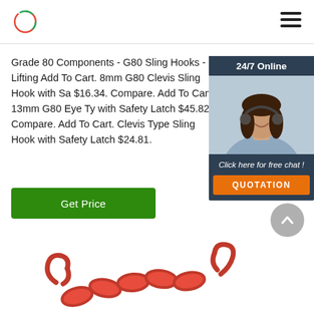Logo and navigation header
Grade 80 Components - G80 Sling Hooks - Lifting Add To Cart. 8mm G80 Clevis Sling Hook with Sa $16.34. Compare. Add To Cart. 13mm G80 Eye Ty with Safety Latch $45.82. Compare. Add To Cart. Clevis Type Sling Hook with Safety Latch $24.81.
[Figure (photo): 24/7 Online chat widget showing a smiling woman with headset, with 'Click here for free chat!' text and QUOTATION button]
Get Price
[Figure (photo): Red chain with hooks visible at the bottom of the page]
[Figure (other): Scroll to top button (gray circle with upward chevron)]